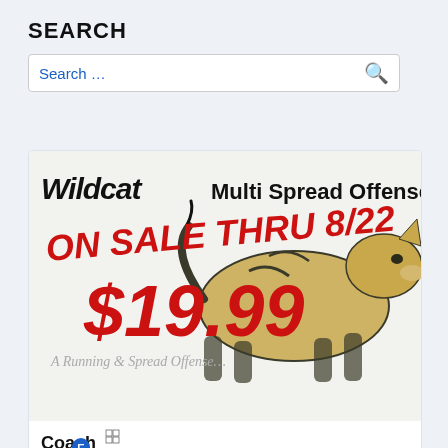SEARCH
Search ...
[Figure (infographic): Advertisement for Wildcat Multi Spread Offense playbook on sale through 8/22 for $19.99. Offensive Playbook for Youth Football. CoachParker.org logo at bottom.]